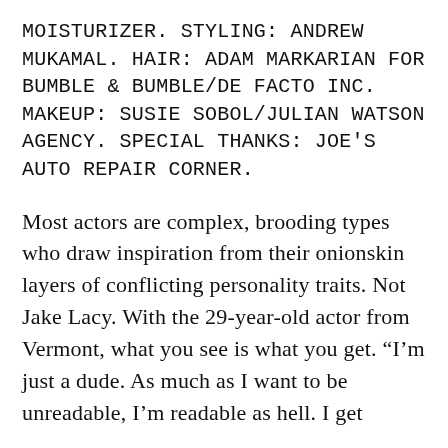MOISTURIZER. STYLING: ANDREW MUKAMAL. HAIR: ADAM MARKARIAN FOR BUMBLE & BUMBLE/DE FACTO INC. MAKEUP: SUSIE SOBOL/JULIAN WATSON AGENCY. SPECIAL THANKS: JOE'S AUTO REPAIR CORNER.
Most actors are complex, brooding types who draw inspiration from their onionskin layers of conflicting personality traits. Not Jake Lacy. With the 29-year-old actor from Vermont, what you see is what you get. “I’m just a dude. As much as I want to be unreadable, I’m readable as hell. I get